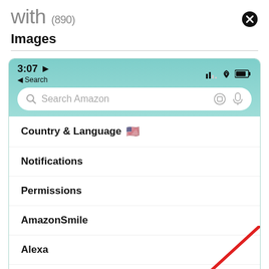with (890)
Images
[Figure (screenshot): Amazon mobile app screenshot showing a search screen with menu items: Country & Language (US flag), Notifications, Permissions, AmazonSmile, Alexa, Manage App Storage. Status bar shows 3:07 time, signal, wifi and battery icons. A red diagonal arrow annotation points to 'Manage App Storage'.]